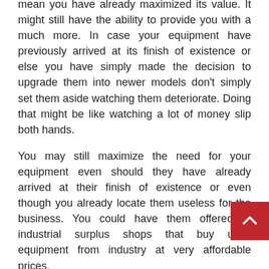mean you have already maximized its value. It might still have the ability to provide you with a much more. In case your equipment have previously arrived at its finish of existence or else you have simply made the decision to upgrade them into newer models don't simply set them aside watching them deteriorate. Doing that might be like watching a lot of money slip both hands.
You may still maximize the need for your equipment even should they have already arrived at their finish of existence or even though you already locate them useless for the business. You could have them offered to industrial surplus shops that buy used equipment from industry at very affordable prices.
Marketing whatever kind of industrial equipment you've. Marketing engineering vehicles, band saws, grinders, drills, comparators, boring mills, etc. Why most industrial surplus shops prefer buying used equipment to market is since it is greatly sought after especially among